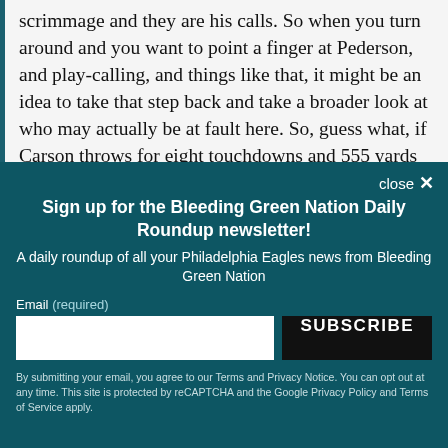scrimmage and they are his calls. So when you turn around and you want to point a finger at Pederson, and play-calling, and things like that, it might be an idea to take that step back and take a broader look at who may actually be at fault here. So, guess what, if Carson throws for eight touchdowns and 555 yards
close ×
Sign up for the Bleeding Green Nation Daily Roundup newsletter!
A daily roundup of all your Philadelphia Eagles news from Bleeding Green Nation
Email (required)
SUBSCRIBE
By submitting your email, you agree to our Terms and Privacy Notice. You can opt out at any time. This site is protected by reCAPTCHA and the Google Privacy Policy and Terms of Service apply.